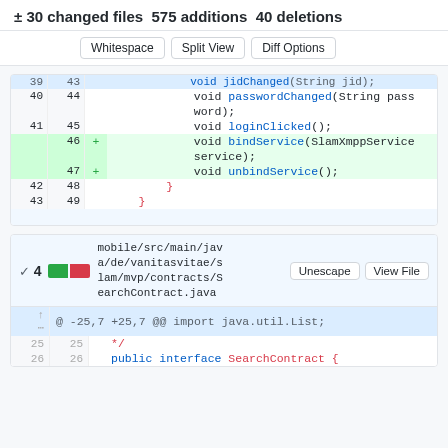± 30 changed files  575 additions  40 deletions
[Figure (screenshot): GitHub diff view showing code changes to LoginContract.java and SearchContract.java with added bindService and unbindService methods]
mobile/src/main/java/de/vanitasvitae/slam/mvp/contracts/SearchContract.java
@ -25,7 +25,7 @@ import java.util.List;
25  25    */
26  26    public interface SearchContract {